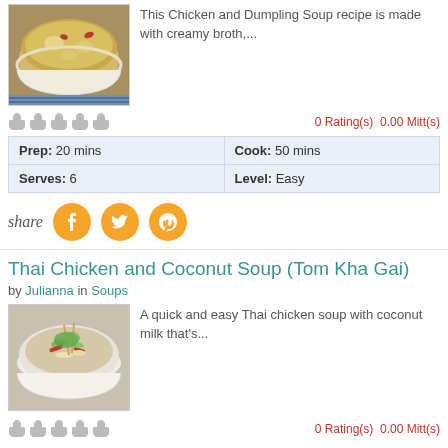[Figure (photo): Bowl of chicken and dumpling soup with creamy broth]
This Chicken and Dumpling Soup recipe is made with creamy broth,...
0 Rating(s)  0.00 Mitt(s)
| Prep: 20 mins | Cook: 50 mins |
| Serves: 6 | Level: Easy |
share
Thai Chicken and Coconut Soup (Tom Kha Gai)
by Julianna in Soups
[Figure (photo): Bowl of Thai chicken coconut soup with vegetables and herbs]
A quick and easy Thai chicken soup with coconut milk that's...
0 Rating(s)  0.00 Mitt(s)